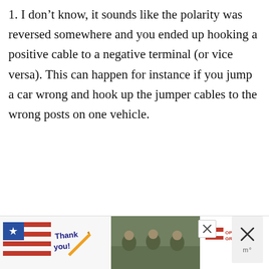1. I don't know, it sounds like the polarity was reversed somewhere and you ended up hooking a positive cable to a negative terminal (or vice versa). This can happen for instance if you jump a car wrong and hook up the jumper cables to the wrong posts on one vehicle.
2. Do you have any fuses in that car? I'm guessing something shorted out in the taillight. By putting way too much current through it, could easily start a fire, but it sounds like
Want to ask a Mechanic online now? I can connect you ...
[Figure (photo): Advertisement banner at bottom: 'Thank you' military appreciation ad with Operation Gratitude logo, soldiers in background]